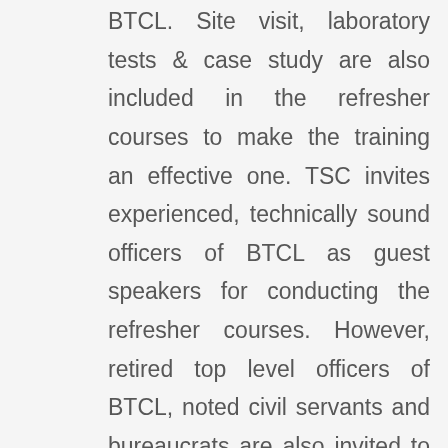BTCL. Site visit, laboratory tests & case study are also included in the refresher courses to make the training an effective one. TSC invites experienced, technically sound officers of BTCL as guest speakers for conducting the refresher courses. However, retired top level officers of BTCL, noted civil servants and bureaucrats are also invited to conduct classes on various topics. Trainees are given the opportunity to evaluate TSC authority and the resource persons on the basis of usefulness of the course, provision of practical demonstration, knowledge of the subject, ability to